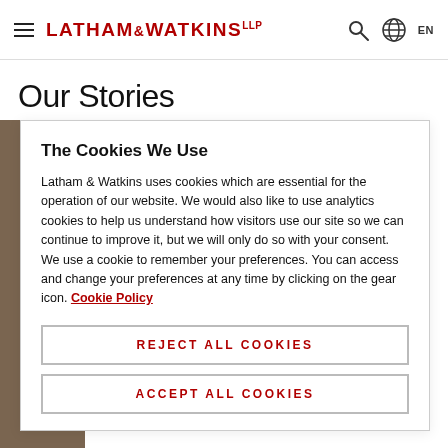LATHAM & WATKINS LLP
Our Stories
The Cookies We Use
Latham & Watkins uses cookies which are essential for the operation of our website. We would also like to use analytics cookies to help us understand how visitors use our site so we can continue to improve it, but we will only do so with your consent. We use a cookie to remember your preferences. You can access and change your preferences at any time by clicking on the gear icon. Cookie Policy
REJECT ALL COOKIES
ACCEPT ALL COOKIES